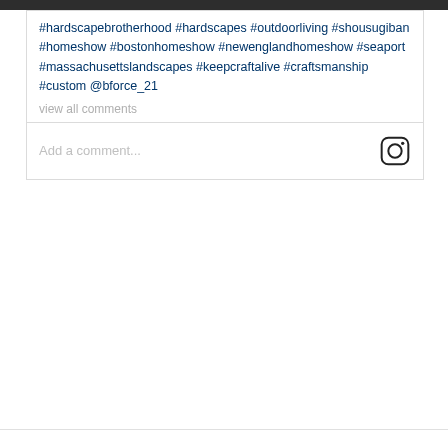#hardscapebrotherhood #hardscapes #outdoorliving #shousugiban #homeshow #bostonhomeshow #newenglandhomeshow #seaport #massachusettslandscapes #keepcraftalive #craftsmanship #custom @bforce_21
view all comments
Add a comment...